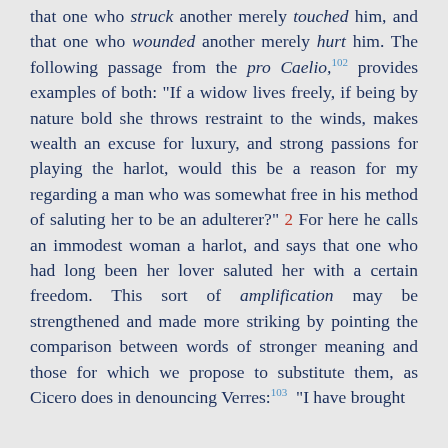that one who struck another merely touched him, and that one who wounded another merely hurt him. The following passage from the pro Caelio,102 provides examples of both: "If a widow lives freely, if being by nature bold she throws restraint to the winds, makes wealth an excuse for luxury, and strong passions for playing the harlot, would this be a reason for my regarding a man who was somewhat free in his method of saluting her to be an adulterer?" 2 For here he calls an immodest woman a harlot, and says that one who had long been her lover saluted her with a certain freedom. This sort of amplification may be strengthened and made more striking by pointing the comparison between words of stronger meaning and those for which we propose to substitute them, as Cicero does in denouncing Verres:103 "I have brought